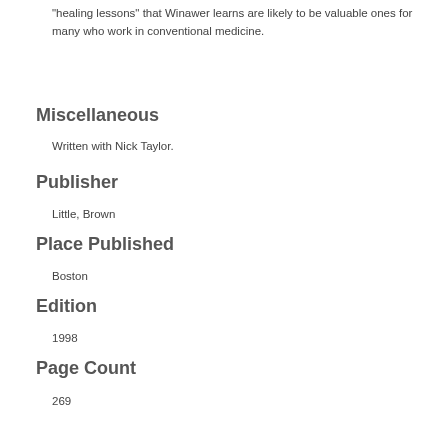"healing lessons" that Winawer learns are likely to be valuable ones for many who work in conventional medicine.
Miscellaneous
Written with Nick Taylor.
Publisher
Little, Brown
Place Published
Boston
Edition
1998
Page Count
269